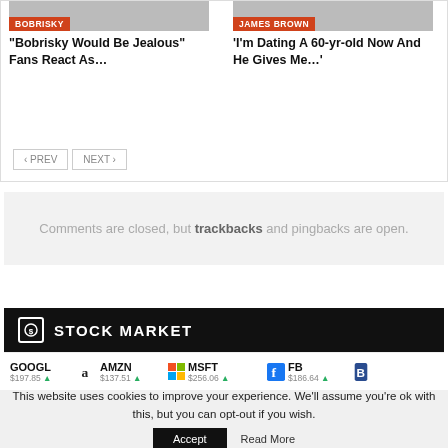[Figure (screenshot): Article card with BOBRISKY label tag]
“Bobrisky Would Be Jealous” Fans React As…
[Figure (screenshot): Article card with JAMES BROWN label tag]
'I'm Dating A 60-yr-old Now And He Gives Me…'
< PREV   NEXT >
Comments are closed, but trackbacks and pingbacks are open.
STOCK MARKET
GOOGL  AMZN  MSFT  FB
This website uses cookies to improve your experience. We'll assume you're ok with this, but you can opt-out if you wish.
Accept   Read More